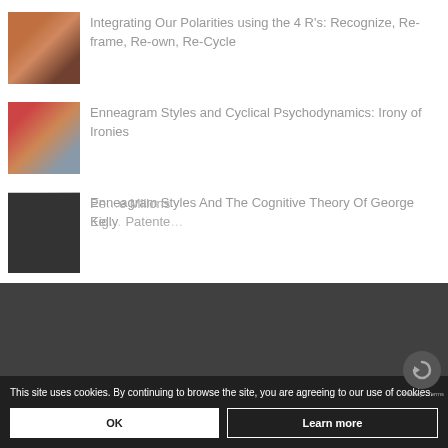[Figure (photo): Person silhouetted against sunset over water]
Integrating Our Polarities using the 4 R's: Recognize, Re-frame, Re-own, Re-Cycle
[Figure (photo): Two people talking at a cafe, outdoor setting]
Enneagram Styles and Cyclical Psychodynamics: Irony of Ironies
[Figure (photo): Person in lab coat looking through microscope]
Enneagram Styles And The Cognitive Theory Of George Kelly
[Figure (photo): Dark portrait photo partially visible]
Pe… e Millons Eig… Patente…
This site uses cookies. By continuing to browse the site, you are agreeing to our use of cookies.